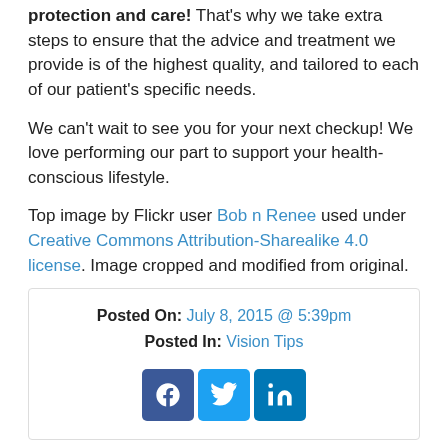protection and care! That's why we take extra steps to ensure that the advice and treatment we provide is of the highest quality, and tailored to each of our patient's specific needs.
We can't wait to see you for your next checkup! We love performing our part to support your health-conscious lifestyle.
Top image by Flickr user Bob n Renee used under Creative Commons Attribution-Sharealike 4.0 license. Image cropped and modified from original.
Posted On: July 8, 2015 @ 5:39pm
Posted In: Vision Tips